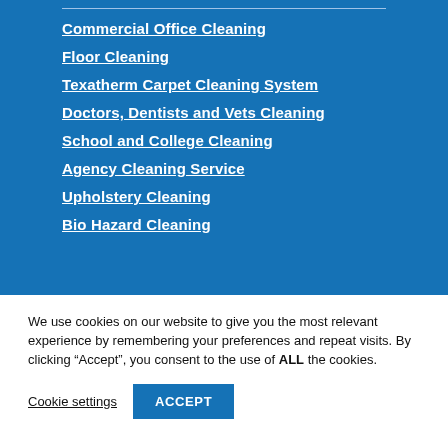Commercial Office Cleaning
Floor Cleaning
Texatherm Carpet Cleaning System
Doctors, Dentists and Vets Cleaning
School and College Cleaning
Agency Cleaning Service
Upholstery Cleaning
Bio Hazard Cleaning
We use cookies on our website to give you the most relevant experience by remembering your preferences and repeat visits. By clicking “Accept”, you consent to the use of ALL the cookies.
Cookie settings
ACCEPT